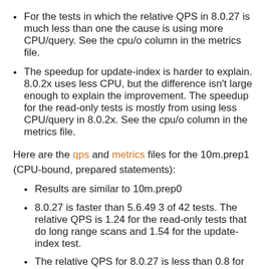For the tests in which the relative QPS in 8.0.27 is much less than one the cause is using more CPU/query. See the cpu/o column in the metrics file.
The speedup for update-index is harder to explain. 8.0.2x uses less CPU, but the difference isn't large enough to explain the improvement. The speedup for the read-only tests is mostly from using less CPU/query in 8.0.2x. See the cpu/o column in the metrics file.
Here are the qps and metrics files for the 10m.prep1 (CPU-bound, prepared statements):
Results are similar to 10m.prep0
8.0.27 is faster than 5.6.49 3 of 42 tests. The relative QPS is 1.24 for the read-only tests that do long range scans and 1.54 for the update-index test.
The relative QPS for 8.0.27 is less than 0.8 for 35